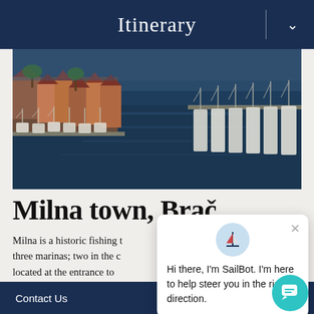Itinerary
[Figure (photo): Aerial view of Milna marina, Brač island, Croatia. Shows boats and sailboats moored along the harbour, red-roofed buildings and palm trees on the left, rows of white sailboats on the right, calm dark blue water in the center.]
Milna town, Brač
Milna is a historic fishing t… three marinas; two in the c… located at the entrance to … architecture in the town is … constructed from Brač's famous white stone, also used in the construction of a number of famous buildings; including the White House in Washington D.C. There are several g…
Hi there, I'm SailBot. I'm here to help steer you in the right direction.
Contact Us